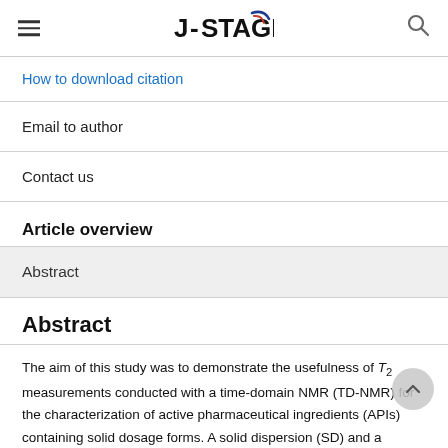J-STAGE
How to download citation
Email to author
Contact us
Article overview
Abstract
Abstract
The aim of this study was to demonstrate the usefulness of T2 measurements conducted with a time-domain NMR (TD-NMR) for the characterization of active pharmaceutical ingredients (APIs) containing solid dosage forms. A solid dispersion (SD) and a physical mixture (PM)